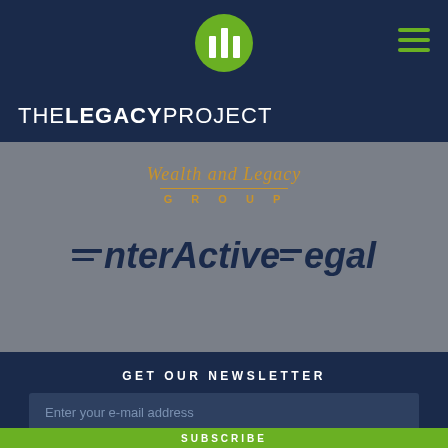[Figure (logo): The Legacy Project logo: green circle with three white vertical bars (pillar/chart icon), centered in dark navy navigation bar]
THE LEGACY PROJECT
[Figure (logo): Wealth and Legacy Group logo in gold: italic script 'Wealth and Legacy' above spaced caps 'G R O U P' with horizontal rule]
[Figure (logo): InterActive Legal logo in dark navy italic bold font with double horizontal lines before the 'I' and before 'Legal']
GET OUR NEWSLETTER
Enter your e-mail address
SUBSCRIBE